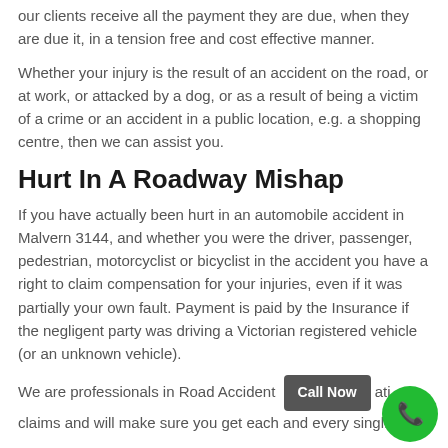our clients receive all the payment they are due, when they are due it, in a tension free and cost effective manner.
Whether your injury is the result of an accident on the road, or at work, or attacked by a dog, or as a result of being a victim of a crime or an accident in a public location, e.g. a shopping centre, then we can assist you.
Hurt In A Roadway Mishap
If you have actually been hurt in an automobile accident in Malvern 3144, and whether you were the driver, passenger, pedestrian, motorcyclist or bicyclist in the accident you have a right to claim compensation for your injuries, even if it was partially your own fault. Payment is paid by the Insurance if the negligent party was driving a Victorian registered vehicle (or an unknown vehicle).
We are professionals in Road Accident [Call Now] ati... claims and will make sure you get each and every singl...